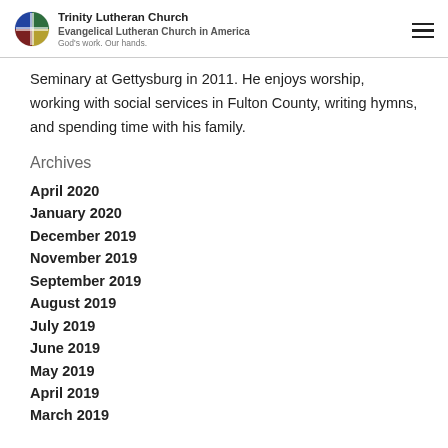Trinity Lutheran Church Evangelical Lutheran Church in America God's work. Our hands.
Seminary at Gettysburg in 2011. He enjoys worship, working with social services in Fulton County, writing hymns, and spending time with his family.
Archives
April 2020
January 2020
December 2019
November 2019
September 2019
August 2019
July 2019
June 2019
May 2019
April 2019
March 2019
February 2019